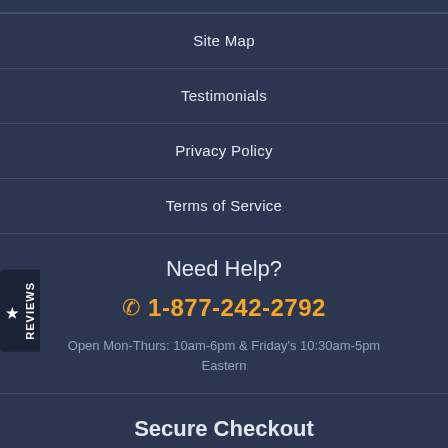Site Map
Testimonials
Privacy Policy
Terms of Service
Need Help?
☎ 1-877-242-2792
Open Mon-Thurs: 10am-6pm & Friday's 10:30am-5pm Eastern
Secure Checkout